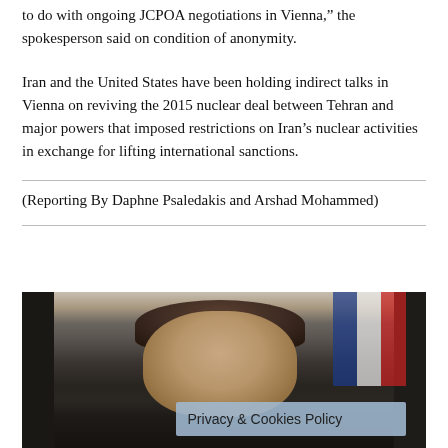to do with ongoing JCPOA negotiations in Vienna, the spokesperson said on condition of anonymity.
Iran and the United States have been holding indirect talks in Vienna on reviving the 2015 nuclear deal between Tehran and major powers that imposed restrictions on Iran’s nuclear activities in exchange for lifting international sanctions.
(Reporting By Daphne Psaledakis and Arshad Mohammed)
[Figure (photo): Photo of a man (Emmanuel Macron) speaking, with a French flag in the background. A semi-transparent 'Privacy & Cookies Policy' banner overlays the lower portion of the image.]